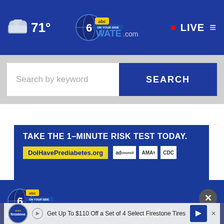71° WATE.com LIVE
Search by keyword
SEARCH
[Figure (screenshot): Advertisement banner: TAKE THE 1-MINUTE RISK TEST TODAY. DolHavePrediabetes.org with ad council, AMA, and CDC logos]
[Figure (logo): WATE.com 6 ABC On Your Side logo]
Kno...and Spo...
[Figure (screenshot): Bottom ad: Get Up To $110 Off a Set of 4 Select Firestone Tires with Firestone Auto logo and close button]